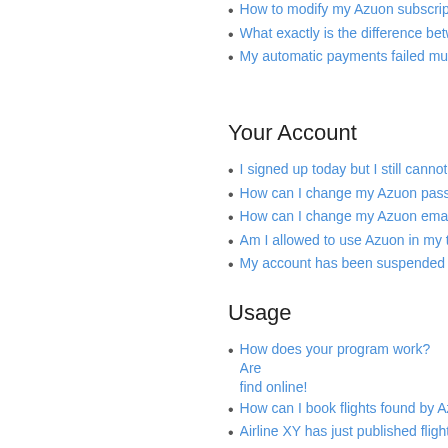How to modify my Azuon subscript…
What exactly is the difference betw…
My automatic payments failed mu…
Your Account
I signed up today but I still cannot…
How can I change my Azuon pass…
How can I change my Azuon emai…
Am I allowed to use Azuon in my t…
My account has been suspended a…
Usage
How does your program work? Are… find online!
How can I book flights found by Az…
Airline XY has just published flight…
I don't see airport XYZ in Azuon. O…
Why doesn't Azuon find my 3-leg f…
Why did my Azuon stop in the mid…
How do I speed up Azuon? How d…
Why are prices shown in Azuon so…